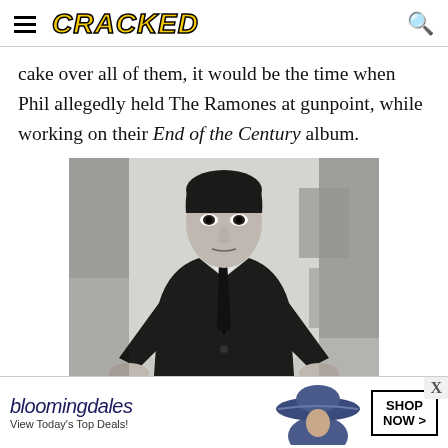CRACKED
cake over all of them, it would be the time when Phil allegedly held The Ramones at gunpoint, while working on their End of the Century album.
[Figure (photo): Black and white photograph of a man in a suit and tie leaning over a table with objects including a handgun visible on the surface]
[Figure (photo): Bloomingdale's advertisement showing a woman in a blue wide-brimmed hat with text 'bloomingdales View Today's Top Deals! SHOP NOW >']